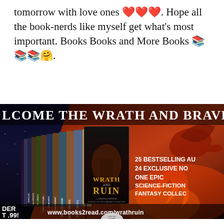tomorrow with love ones ❤❤❤. Hope all the book-nerds like myself get what's most important. Books Books and More Books 📚 📚📚🤗.
[Figure (illustration): Book banner advertisement for 'Wrath and Ruin' - a limited edition science fiction and fantasy collection. Shows stacked book spines on the left with author names including Audrey Grey & Krystal Wade, Isaac Hooke, Nicole Zoltack, Sheilein Vedam, Lydia Sherrer, Cora West, Courtney Planding, D.K. Cassidy, Ali Winters, Samita Par, and others. Center shows the main book cover with a dark fantasy figure. Right side shows a dragon against a fiery red-orange sky. Text reads 'WELCOME THE WRATH AND BRAVE THE RUIN', '25 BESTSELLING AU...', '24 EXCLUSIVE NO...', 'ONE EPIC', 'SCIENCE-FICTION', 'FANTASY COLLEC...' and at bottom 'www.books2read.com/wrathruin', 'DER', 'T .99!']